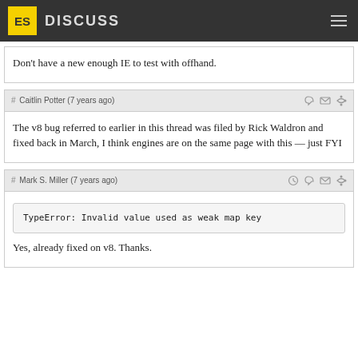ES DISCUSS
Don't have a new enough IE to test with offhand.
# Caitlin Potter (7 years ago)
The v8 bug referred to earlier in this thread was filed by Rick Waldron and fixed back in March, I think engines are on the same page with this — just FYI
# Mark S. Miller (7 years ago)
TypeError: Invalid value used as weak map key
Yes, already fixed on v8. Thanks.